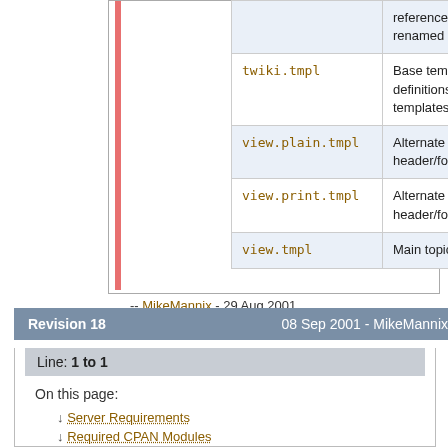| File | Description |
| --- | --- |
|  | references to topic being renamed |
| twiki.tmpl | Base template definitions used by other templates |
| view.plain.tmpl | Alternate topic header/footer view |
| view.print.tmpl | Alternate topic header/footer view |
| view.tmpl | Main topic view |
-- MikeMannix - 29 Aug 2001
Revision 18    08 Sep 2001 - MikeMannix
Line: 1 to 1
On this page:
Server Requirements
Required CPAN Modules